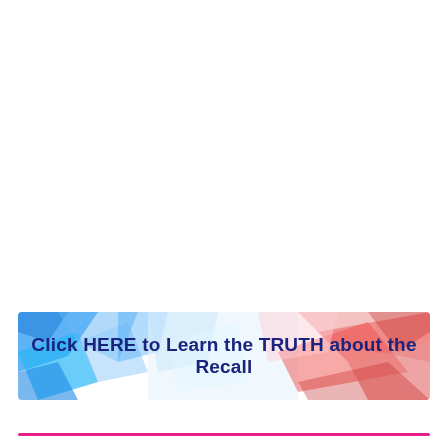[Figure (infographic): Banner with blue-to-red polygon geometric background and bold dark navy text reading 'Click HERE to Learn the TRUTH about the Recall']
[Figure (other): Horizontal pink/magenta line at the bottom of the page]